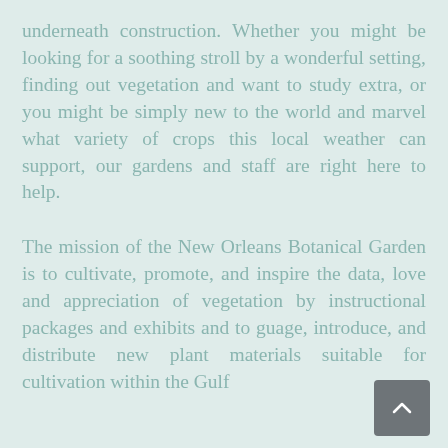underneath construction. Whether you might be looking for a soothing stroll by a wonderful setting, finding out vegetation and want to study extra, or you might be simply new to the world and marvel what variety of crops this local weather can support, our gardens and staff are right here to help.
The mission of the New Orleans Botanical Garden is to cultivate, promote, and inspire the data, love and appreciation of vegetation by instructional packages and exhibits and to guage, introduce, and distribute new plant materials suitable for cultivation within the Gulf